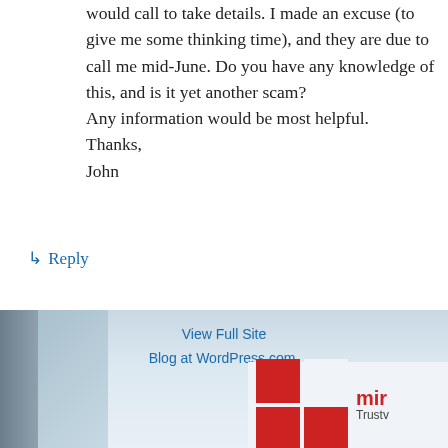would call to take details. I made an excuse (to give me some thinking time), and they are due to call me mid-June. Do you have any knowledge of this, and is it yet another scam? Any information would be most helpful. Thanks, John
↳ Reply
View Full Site
Blog at WordPress.com.